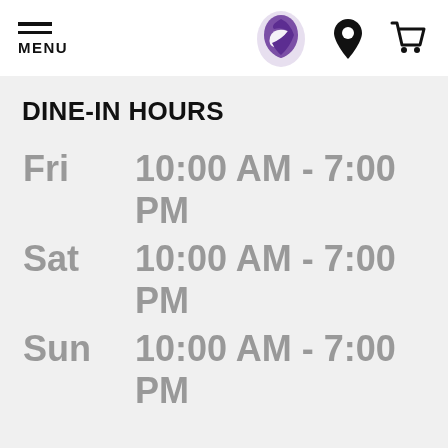MENU | Taco Bell logo | Location icon | Cart icon
DINE-IN HOURS
| Day | Hours |
| --- | --- |
| Fri | 10:00 AM - 7:00 PM |
| Sat | 10:00 AM - 7:00 PM |
| Sun | 10:00 AM - 7:00 PM |